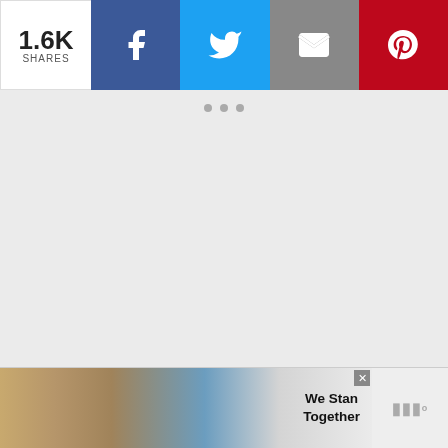[Figure (infographic): Social share bar with count 1.6K SHARES and four buttons: Facebook (blue), Twitter (light blue), Email (gray), Pinterest (red)]
[Figure (other): Advertisement placeholder area with three gray dots at top and a watermark symbol at bottom right]
Now, I will mention that because postcards are thicker than photos, it was a tight squeeze from time to time. So, if you recreate a similar project, you may want to consider scanning and color printing vintage Christmas cards or postcards to streamline the process.
[Figure (other): Bottom advertisement banner showing people with arms around each other and text 'We Stand Together', with close button and watermark]